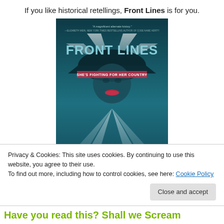If you like historical retellings, Front Lines is for you.
[Figure (illustration): Book cover of 'Front Lines' — dark teal background with dramatic searchlight beams forming an X pattern, a woman's face partially visible in shadow, the text 'FRONT LINES' in large letters at the top, subtitle 'SHE'S FIGHTING FOR HER COUNTRY', with a quote at the very top reading 'A magnificent alternate history.' by Elizabeth Wein, New York Times bestselling author of Code Name Verity]
Privacy & Cookies: This site uses cookies. By continuing to use this website, you agree to their use.
To find out more, including how to control cookies, see here: Cookie Policy
Have you read this? Shall we Scream